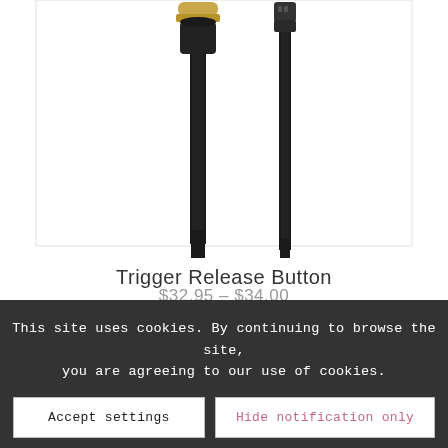[Figure (photo): Product photo showing audio cable connectors - XLR connector and right-angle plug with black cables on white background]
Trigger Release Button
$32.95 – $34.00
This site uses cookies. By continuing to browse the site, you are agreeing to our use of cookies.
Accept settings
Hide notification only
Settings